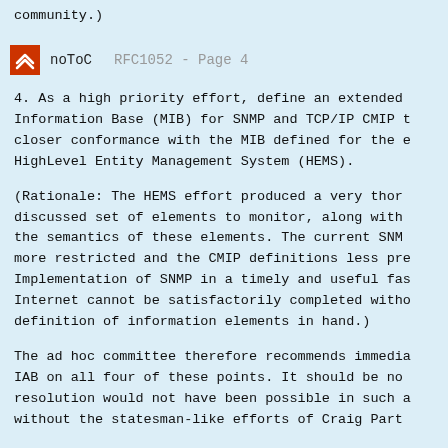community.)
noToC    RFC1052 - Page 4
4.  As a high priority effort, define an extended Information Base (MIB) for SNMP and TCP/IP CMIP t closer conformance with the MIB defined for the e HighLevel Entity Management System (HEMS).
(Rationale:  The HEMS effort produced a very thor discussed set of elements to monitor, along with the semantics of these elements.  The current SNM more restricted and the CMIP definitions less pre Implementation of SNMP in a timely and useful fas Internet cannot be satisfactorily completed witho definition of information elements in hand.)
The ad hoc committee therefore recommends immedia IAB on all four of these points.  It should be no resolution would not have been possible in such a without the statesman-like efforts of Craig Part